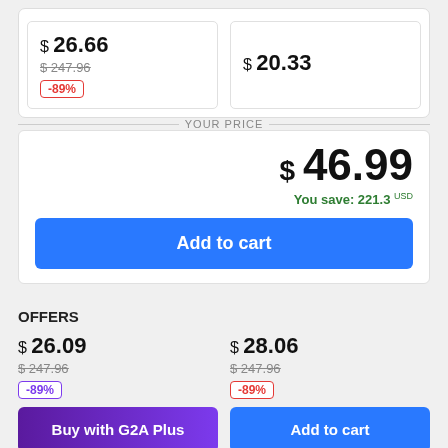$ 26.66
$ 247.96
-89%
$ 20.33
YOUR PRICE
$ 46.99
You save: 221.3 USD
Add to cart
OFFERS
$ 26.09
$ 247.96
-89%
$ 28.06
$ 247.96
-89%
Buy with G2A Plus
Add to cart